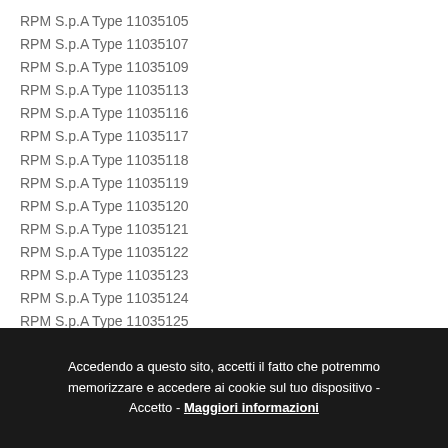RPM S.p.A Type 11035105
RPM S.p.A Type 11035107
RPM S.p.A Type 11035109
RPM S.p.A Type 11035113
RPM S.p.A Type 11035116
RPM S.p.A Type 11035117
RPM S.p.A Type 11035118
RPM S.p.A Type 11035119
RPM S.p.A Type 11035120
RPM S.p.A Type 11035121
RPM S.p.A Type 11035122
RPM S.p.A Type 11035123
RPM S.p.A Type 11035124
RPM S.p.A Type 11035125
RPM S.p.A Type 11035400
Accedendo a questo sito, accetti il fatto che potremmo memorizzare e accedere ai cookie sul tuo dispositivo - Accetto - Maggiori informazioni